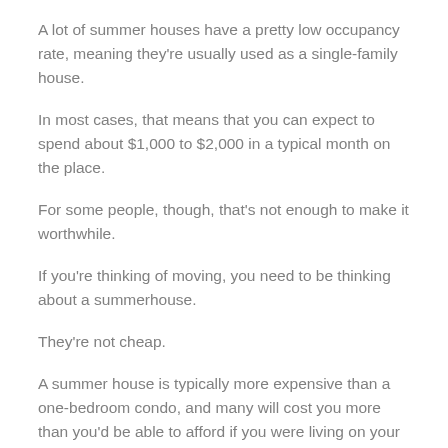A lot of summer houses have a pretty low occupancy rate, meaning they're usually used as a single-family house.
In most cases, that means that you can expect to spend about $1,000 to $2,000 in a typical month on the place.
For some people, though, that's not enough to make it worthwhile.
If you're thinking of moving, you need to be thinking about a summerhouse.
They're not cheap.
A summer house is typically more expensive than a one-bedroom condo, and many will cost you more than you'd be able to afford if you were living on your own.
That's why summer houses are so attractive to people who